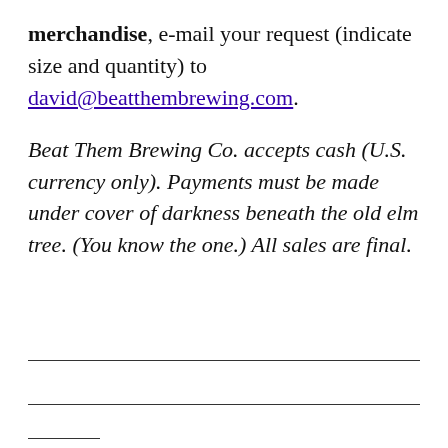merchandise, e-mail your request (indicate size and quantity) to david@beatthembrewing.com.
Beat Them Brewing Co. accepts cash (U.S. currency only). Payments must be made under cover of darkness beneath the old elm tree. (You know the one.) All sales are final.